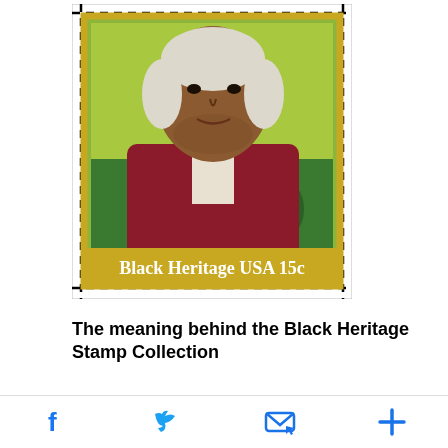[Figure (photo): A US postage stamp from the Black Heritage series featuring a portrait of a Black man in historical dress with a surveying instrument in the background and a smaller figure. The stamp reads 'Black Heritage USA 15c' at the bottom on a yellow-green background.]
The meaning behind the Black Heritage Stamp Collection
The contributions of African-Americans to the fabric of America is still news to many. Fortunately, the Black Heritage Stamp Collection serves not only to commemorate notable leaders who are easily recognizable to the masses, but to educate about the
Social share icons: Facebook, Twitter, Email, Plus